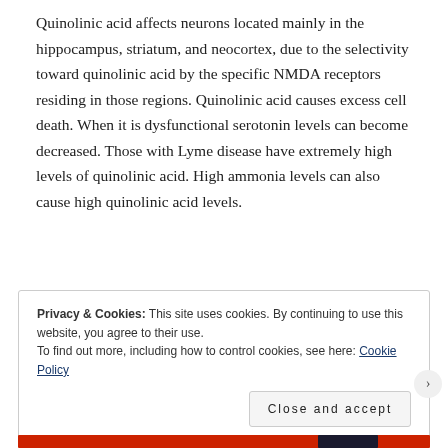Quinolinic acid affects neurons located mainly in the hippocampus, striatum, and neocortex, due to the selectivity toward quinolinic acid by the specific NMDA receptors residing in those regions. Quinolinic acid causes excess cell death. When it is dysfunctional serotonin levels can become decreased. Those with Lyme disease have extremely high levels of quinolinic acid. High ammonia levels can also cause high quinolinic acid levels.
Privacy & Cookies: This site uses cookies. By continuing to use this website, you agree to their use.
To find out more, including how to control cookies, see here: Cookie Policy
Close and accept